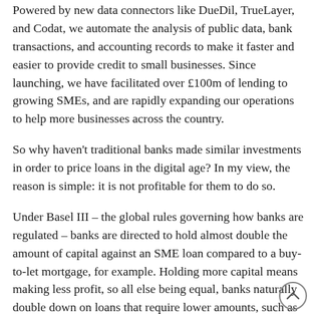Powered by new data connectors like DueDil, TrueLayer, and Codat, we automate the analysis of public data, bank transactions, and accounting records to make it faster and easier to provide credit to small businesses. Since launching, we have facilitated over £100m of lending to growing SMEs, and are rapidly expanding our operations to help more businesses across the country.
So why haven't traditional banks made similar investments in order to price loans in the digital age? In my view, the reason is simple: it is not profitable for them to do so.
Under Basel III – the global rules governing how banks are regulated – banks are directed to hold almost double the amount of capital against an SME loan compared to a buy-to-let mortgage, for example. Holding more capital means making less profit, so all else being equal, banks naturally double down on loans that require lower amounts, such as